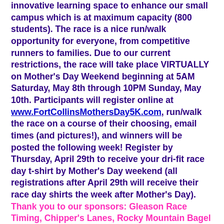innovative learning space to enhance our small campus which is at maximum capacity (800 students). The race is a nice run/walk opportunity for everyone, from competitive runners to families. Due to our current restrictions, the race will take place VIRTUALLY on Mother's Day Weekend beginning at 5AM Saturday, May 8th through 10PM Sunday, May 10th. Participants will register online at www.FortCollinsMothersDay5K.com, run/walk the race on a course of their choosing, email times (and pictures!), and winners will be posted the following week! Register by Thursday, April 29th to receive your dri-fit race day t-shirt by Mother's Day weekend (all registrations after April 29th will receive their race day shirts the week after Mother's Day). Thank you to our sponsors: Gleason Race Timing, Chipper's Lanes, Rocky Mountain Bagel Works, Go West T-Shirts, Fort Collins Running Club, Whole Foods, CHAMP, Image